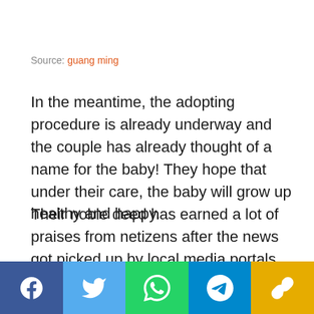Source: guang ming
In the meantime, the adopting procedure is already underway and the couple has already thought of a name for the baby! They hope that under their care, the baby will grow up healthy and happy.
Their noble deed has earned a lot of praises from netizens after the news got picked up by local media portals.
[Figure (infographic): Social media sharing buttons bar: Facebook (dark blue), Twitter (light blue), WhatsApp (green), Telegram (blue), Link/copy (yellow/gold)]